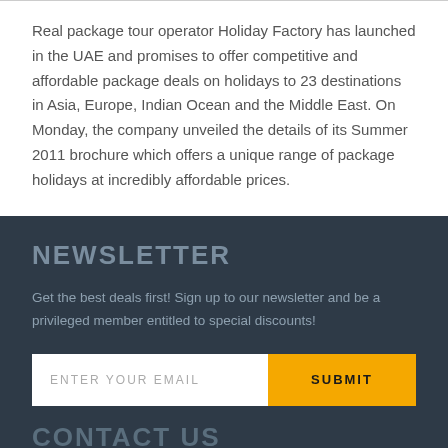Real package tour operator Holiday Factory has launched in the UAE and promises to offer competitive and affordable package deals on holidays to 23 destinations in Asia, Europe, Indian Ocean and the Middle East. On Monday, the company unveiled the details of its Summer 2011 brochure which offers a unique range of package holidays at incredibly affordable prices.
NEWSLETTER
Get the best deals first! Sign up to our newsletter and be a privileged member entitled to special discounts!
ENTER YOUR EMAIL   SUBMIT
CONTACT US